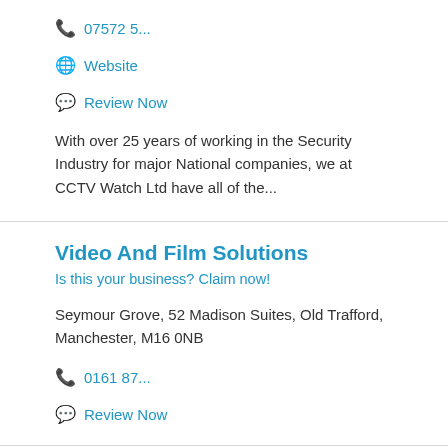📞 07572 5...
🌐 Website
💬 Review Now
With over 25 years of working in the Security Industry for major National companies, we at CCTV Watch Ltd have all of the...
Video And Film Solutions
Is this your business? Claim now!
Seymour Grove, 52 Madison Suites, Old Trafford, Manchester, M16 0NB
📞 0161 87...
💬 Review Now